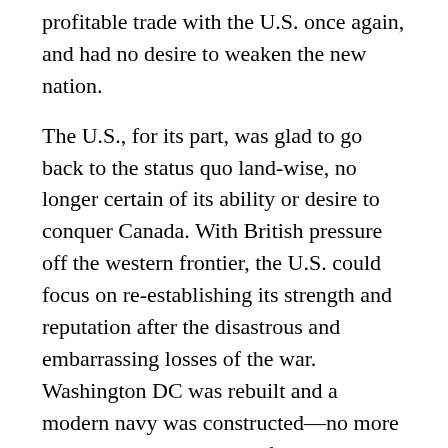profitable trade with the U.S. once again, and had no desire to weaken the new nation.
The U.S., for its part, was glad to go back to the status quo land-wise, no longer certain of its ability or desire to conquer Canada. With British pressure off the western frontier, the U.S. could focus on re-establishing its strength and reputation after the disastrous and embarrassing losses of the war. Washington DC was rebuilt and a modern navy was constructed—no more relying on gunboats to defend the U.S. coast or forts.
The areas of the U.S. that suffered after the war were New England and the Deep South. New England had opposed the war vigorously throughout and had been